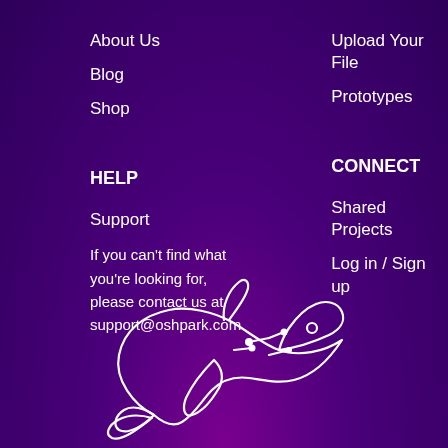About Us
Blog
Shop
Upload Your File
Prototypes
HELP
CONNECT
Support
Shared Projects
Log in / Sign up
If you can't find what you're looking for, please contact us at support@oshpark.com
[Figure (illustration): White outline illustration of a dolphin with circuit board trace lines on its body, on a purple gradient background — the Oshpark logo mascot.]